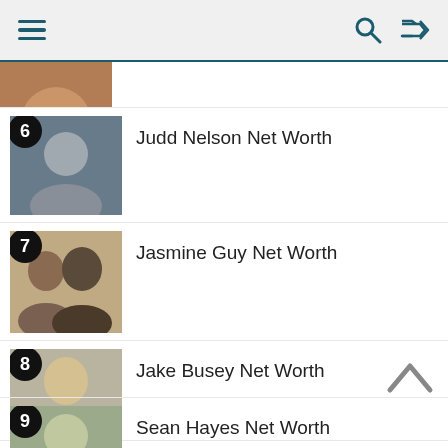Navigation header with menu, search, and shuffle icons
[Figure (photo): Partial view of entry above item 6 — top of image cropped]
6 Judd Nelson Net Worth
7 Jasmine Guy Net Worth
8 Jake Busey Net Worth
9 Sean Hayes Net Worth